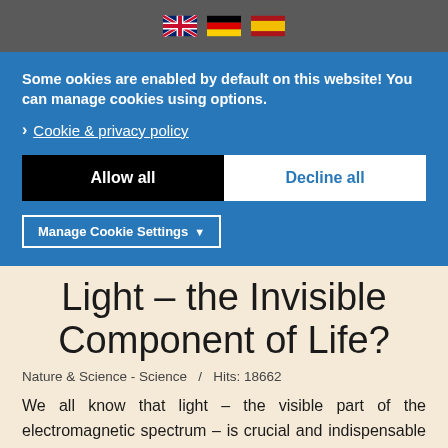[Figure (other): Top navigation bar with three flag icons: UK flag, German flag, Spanish flag]
Some cookies are enabled by default on this website! You can manage cookies using options.
Cookie & privacy policy
Allow all
Decline all
Manage Cookie Settings
Light – the Invisible Component of Life?
Nature & Science - Science  /  Hits: 18662
We all know that light – the visible part of the electromagnetic spectrum – is crucial and indispensable to life; it is generated by the sun and